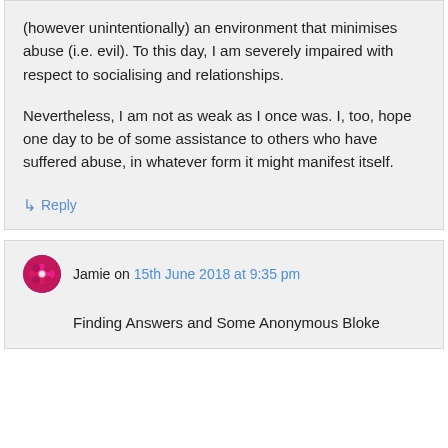(however unintentionally) an environment that minimises abuse (i.e. evil). To this day, I am severely impaired with respect to socialising and relationships.
Nevertheless, I am not as weak as I once was. I, too, hope one day to be of some assistance to others who have suffered abuse, in whatever form it might manifest itself.
↳ Reply
Jamie on 15th June 2018 at 9:35 pm
Finding Answers and Some Anonymous Bloke